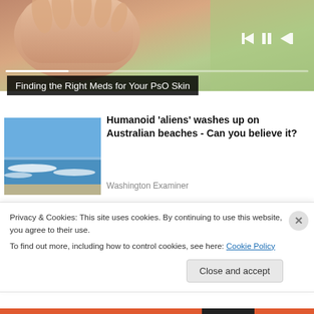[Figure (photo): Video player banner showing hands against a green background with media controls (skip back, pause, skip forward) and a progress bar]
Finding the Right Meds for Your PsO Skin
[Figure (photo): Thumbnail image of an Australian beach with ocean waves and blue sky]
Humanoid 'aliens' washes up on Australian beaches - Can you believe it?
Washington Examiner
Privacy & Cookies: This site uses cookies. By continuing to use this website, you agree to their use.
To find out more, including how to control cookies, see here: Cookie Policy
Close and accept